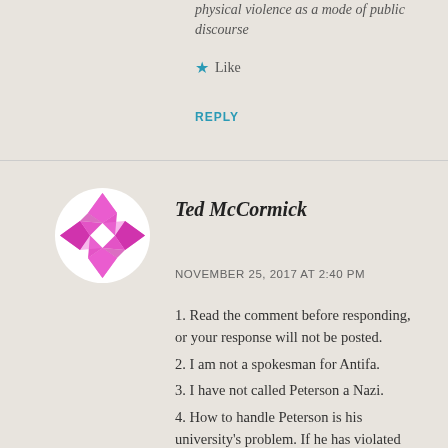physical violence as a mode of public discourse
★ Like
REPLY
[Figure (illustration): Avatar icon: circular avatar with a geometric pink/magenta diamond quilt pattern on white background]
Ted McCormick
NOVEMBER 25, 2017 AT 2:40 PM
1. Read the comment before responding, or your response will not be posted.
2. I am not a spokesman for Antifa.
3. I have not called Peterson a Nazi.
4. How to handle Peterson is his university's problem. If he has violated their standards then of course he should